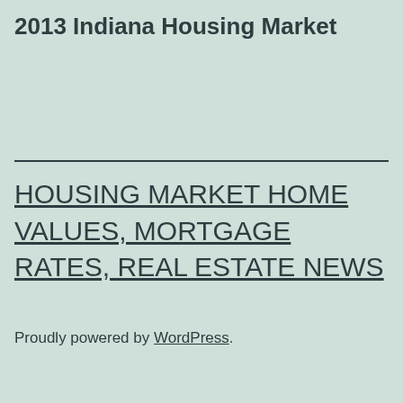2013 Indiana Housing Market
HOUSING MARKET HOME VALUES, MORTGAGE RATES, REAL ESTATE NEWS
Proudly powered by WordPress.